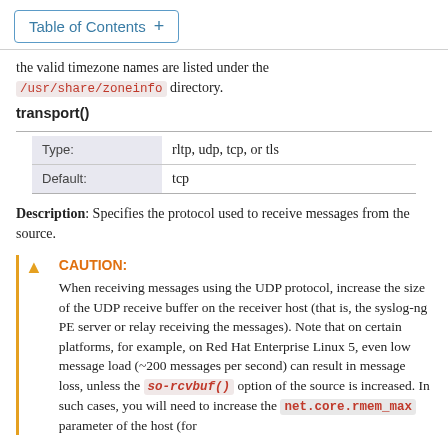Table of Contents +
the valid timezone names are listed under the /usr/share/zoneinfo directory.
transport()
| Type: | rltp, udp, tcp, or tls |
| --- | --- |
| Default: | tcp |
Description: Specifies the protocol used to receive messages from the source.
CAUTION: When receiving messages using the UDP protocol, increase the size of the UDP receive buffer on the receiver host (that is, the syslog-ng PE server or relay receiving the messages). Note that on certain platforms, for example, on Red Hat Enterprise Linux 5, even low message load (~200 messages per second) can result in message loss, unless the so-rcvbuf() option of the source is increased. In such cases, you will need to increase the net.core.rmem_max parameter of the host (for